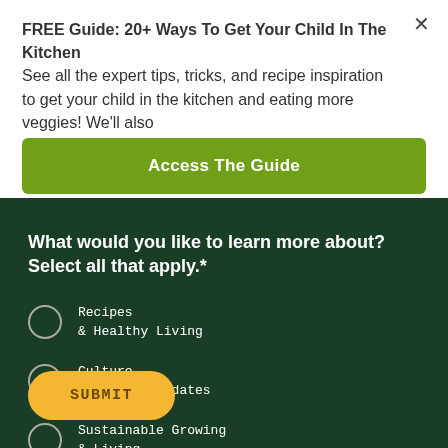FREE Guide: 20+ Ways To Get Your Child In The Kitchen See all the expert tips, tricks, and recipe inspiration to get your child in the kitchen and eating more veggies! We'll also
Access The Guide
What would you like to learn more about? Select all that apply.*
Recipes
& Healthy Living
Culture
& Company Updates
Sustainable Growing
& Living
SUBMIT